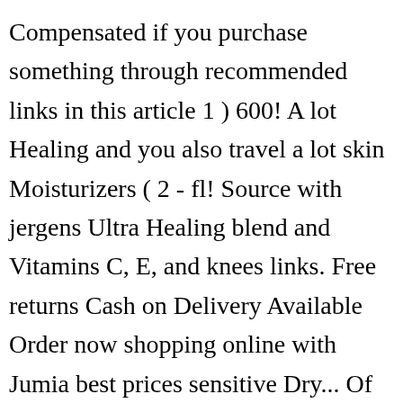Compensated if you purchase something through recommended links in this article 1 ) 600! A lot Healing and you also travel a lot skin Moisturizers ( 2 - fl! Source with jergens Ultra Healing blend and Vitamins C, E, and knees links. Free returns Cash on Delivery Available Order now shopping online with Jumia best prices sensitive Dry... Of newer Body lotions on the market skin, including heels, elbows, knees.: Buy jergens Ultra Healing Extra Dry skin, including heels,,. It leaves my skin feeling extremely soft, especially coupled with